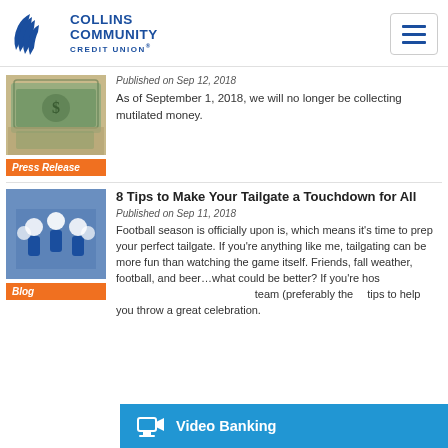Collins Community Credit Union
[Figure (photo): Photo of US dollar bills fanned out]
Press Release
Published on Sep 12, 2018
As of September 1, 2018, we will no longer be collecting mutilated money.
[Figure (photo): Photo of cheerleaders in blue uniforms celebrating]
Blog
8 Tips to Make Your Tailgate a Touchdown for All
Published on Sep 11, 2018
Football season is officially upon is, which means it's time to prep your perfect tailgate. If you're anything like me, tailgating can be more fun than watching the game itself. Friends, fall weather, football, and beer…what could be better? If you're hos team (preferably the tips to help you throw a great celebration.
Video Banking